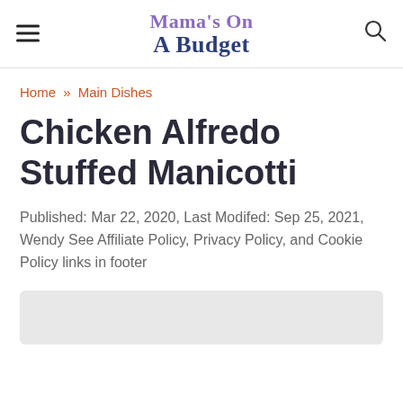Mama's On A Budget
Home » Main Dishes
Chicken Alfredo Stuffed Manicotti
Published: Mar 22, 2020, Last Modifed: Sep 25, 2021, Wendy See Affiliate Policy, Privacy Policy, and Cookie Policy links in footer
[Figure (photo): Image placeholder area (light gray rectangle)]